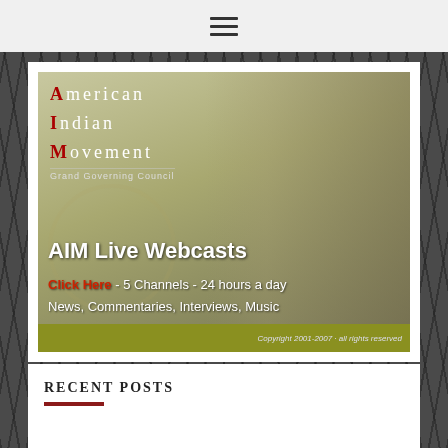[Figure (screenshot): AIM (American Indian Movement) Grand Governing Council banner promoting AIM Live Webcasts — Click Here, 5 Channels, 24 hours a day, News, Commentaries, Interviews, Music. Copyright 2001-2007 all rights reserved.]
RECENT POSTS